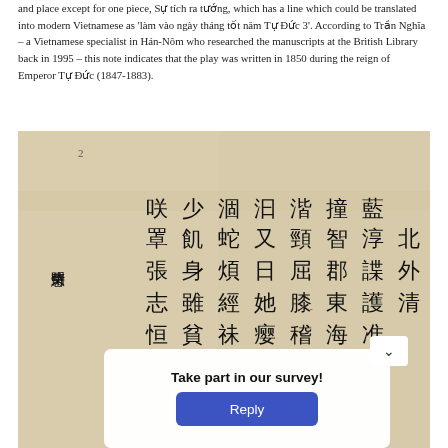and place except for one piece, Sự tích ra tướng, which has a line which could be translated into modern Vietnamese as 'làm vào ngày tháng tốt năm Tự Đức 3'. According to Trần Nghĩa – a Vietnamese specialist in Hán-Nôm who researched the manuscripts at the British Library back in 1995 – this note indicates that the play was written in 1850 during the reign of Emperor Tự Đức (1847-1883).
[Figure (photo): Photograph of a manuscript page with Chinese/Nôm characters arranged in columns. On the left side there is vertical text reading characters. The manuscript has an aged, yellowed paper appearance. Several columns of Chinese/Nom characters are visible. A survey popup overlay with 'Take part in our survey!' and a 'Reply' button appears over the bottom portion of the image, along with a small chevron button.]